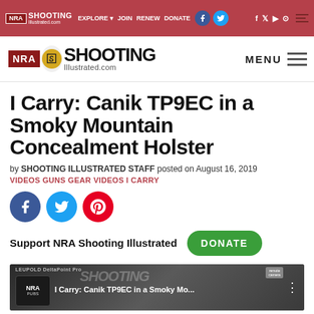[Figure (screenshot): NRA Shooting Illustrated website header/navigation bar with logo, nav links (EXPLORE, JOIN, RENEW, DONATE), social media icons (Facebook, Twitter, YouTube, Instagram), and hamburger menu]
[Figure (logo): NRA Shooting Illustrated logo with tagline 'Illustrated.com' and MENU button with hamburger icon]
I Carry: Canik TP9EC in a Smoky Mountain Concealment Holster
by SHOOTING ILLUSTRATED STAFF posted on August 16, 2019
VIDEOS GUNS GEAR VIDEOS I CARRY
[Figure (infographic): Social share buttons: Facebook (blue circle), Twitter (light blue circle), Pinterest (red circle)]
Support NRA Shooting Illustrated
[Figure (screenshot): Video thumbnail showing NRA Pubs channel with title 'I Carry: Canik TP9EC in a Smoky Mo...' with Leupold DeltaPoint Pro overlay and Shooting background]